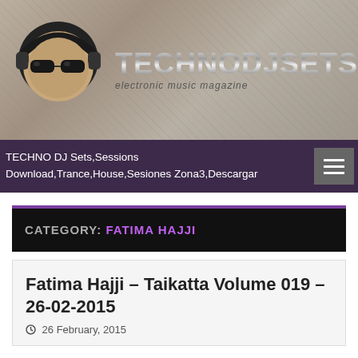[Figure (logo): TechnoDJSets.com website header banner with DJ character logo (cartoon DJ with headphones and sunglasses) and metallic site title text 'TECHNODJSETS.COM' with subtitle 'electronic music magazine' on a textured stone/concrete background]
TECHNO DJ Sets,Sessions Download,Trance,House,Sesiones Zona3,Descargar
CATEGORY: FATIMA HAJJI
Fatima Hajji – Taikatta Volume 019 – 26-02-2015
26 February, 2015
This Site use cookies to measure and manage visits to the Web, and to remember the users accessing it. If you continue to browse, consider that acceptable for use.Accept Read More